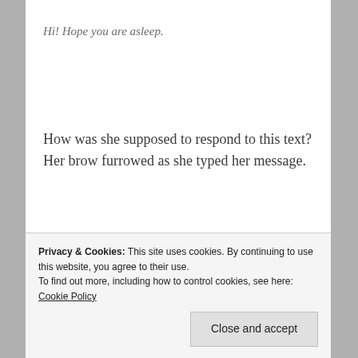Hi! Hope you are asleep.
How was she supposed to respond to this text? Her brow furrowed as she typed her message.
Yes! This is me sleep-texting. 🙂
Privacy & Cookies: This site uses cookies. By continuing to use this website, you agree to their use.
To find out more, including how to control cookies, see here: Cookie Policy
Close and accept
ago; like she was free falling, off of a high cliff. The